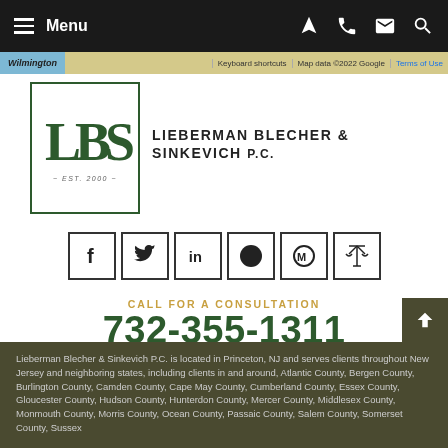Menu
[Figure (screenshot): Map strip showing Wilmington area with Google Maps attribution: Keyboard shortcuts | Map data ©2022 Google | Terms of Use]
[Figure (logo): Lieberman Blecher & Sinkevich P.C. law firm logo with LBS monogram in green inside a bordered box, Est. 2000]
LIEBERMAN BLECHER & SINKEVICH P.C.
[Figure (other): Social media icons row: Facebook, Twitter, LinkedIn, circle icon, Avvo, scales of justice icon]
CALL FOR A CONSULTATION
732-355-1311
10 Jefferson Plaza, Suite 400 | Princeton, New Jersey 08540
Lieberman Blecher & Sinkevich P.C. is located in Princeton, NJ and serves clients throughout New Jersey and neighboring states, including clients in and around, Atlantic County, Bergen County, Burlington County, Camden County, Cape May County, Cumberland County, Essex County, Gloucester County, Hudson County, Hunterdon County, Mercer County, Middlesex County, Monmouth County, Morris County, Ocean County, Passaic County, Salem County, Somerset County, Sussex